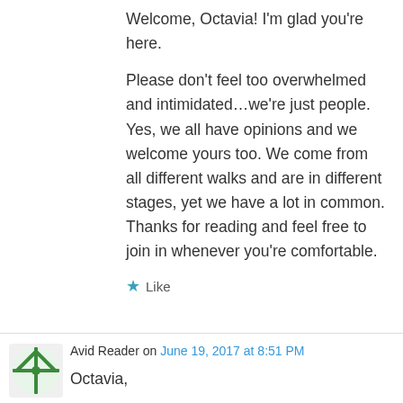Welcome, Octavia! I'm glad you're here.
Please don't feel too overwhelmed and intimidated…we're just people. Yes, we all have opinions and we welcome yours too. We come from all different walks and are in different stages, yet we have a lot in common. Thanks for reading and feel free to join in whenever you're comfortable.
★ Like
Avid Reader on June 19, 2017 at 8:51 PM
Octavia,
Welcome!! Glad that you spoke up. Hope to hear